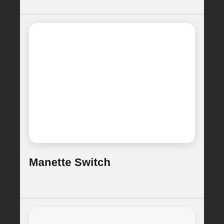[Figure (illustration): A white rounded rectangle card with drop shadow on a light gray background]
Manette Switch
[Figure (illustration): A partial white rounded rectangle card appearing at the bottom of the page, cropped]